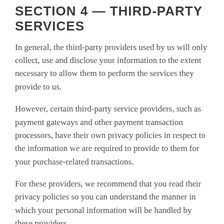SECTION 4 — THIRD-PARTY SERVICES
In general, the third-party providers used by us will only collect, use and disclose your information to the extent necessary to allow them to perform the services they provide to us.
However, certain third-party service providers, such as payment gateways and other payment transaction processors, have their own privacy policies in respect to the information we are required to provide to them for your purchase-related transactions.
For these providers, we recommend that you read their privacy policies so you can understand the manner in which your personal information will be handled by these providers.